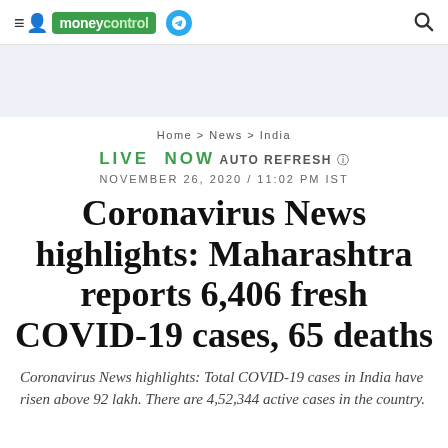moneycontrol
[Figure (other): Advertisement banner area with light blue background]
Home > News > India
LIVE NOW AUTO REFRESH
NOVEMBER 26, 2020 / 11:02 PM IST
Coronavirus News highlights: Maharashtra reports 6,406 fresh COVID-19 cases, 65 deaths
Coronavirus News highlights: Total COVID-19 cases in India have risen above 92 lakh. There are 4,52,344 active cases in the country.